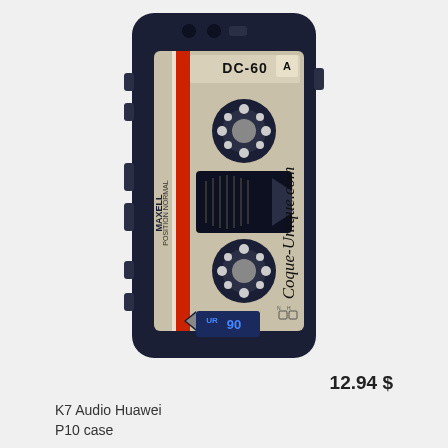[Figure (photo): Product photo of a Huawei P10 phone case designed to look like a vintage cassette tape. The case is dark navy/black with a silver/cream label area showing 'DC-60', 'MAXELL', two tape spools, 'Coque-Unique.com' in script, and 'UR 90' branding. A red stripe runs vertically on the left side of the label.]
12.94 $
K7 Audio Huawei P10 case